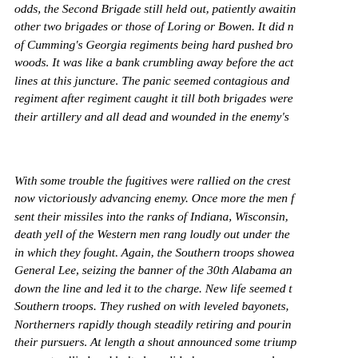odds, the Second Brigade still held out, patiently awaitin other two brigades or those of Loring or Bowen. It did n of Cumming's Georgia regiments being hard pushed bro woods. It was like a bank crumbling away before the act lines at this juncture. The panic seemed contagious and regiment after regiment caught it till both brigades were their artillery and all dead and wounded in the enemy's
With some trouble the fugitives were rallied on the crest now victoriously advancing enemy. Once more the men f sent their missiles into the ranks of Indiana, Wisconsin, death yell of the Western men rang loudly out under the in which they fought. Again, the Southern troops showea General Lee, seizing the banner of the 30th Alabama an down the line and led it to the charge. New life seemed t Southern troops. They rushed on with leveled bayonets, Northerners rapidly though steadily retiring and pourin their pursuers. At length a shout announced some triump moment rallied and halted, as did also our men, and sur